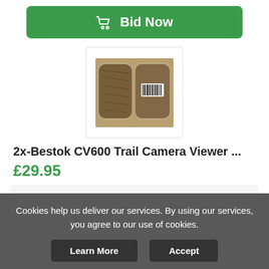[Figure (screenshot): Green 'Bid Now' button with shopping cart icon]
[Figure (photo): Product photo showing two Bestok CV600 Trail Camera Viewers in packaging]
2x-Bestok CV600 Trail Camera Viewer ...
£29.95
Buy Now
New
20 Day(s) 20 h(s)
Worldwide
4 days
Easy Returns
Cookies help us deliver our services. By using our services, you agree to our use of cookies.
Learn More
Accept